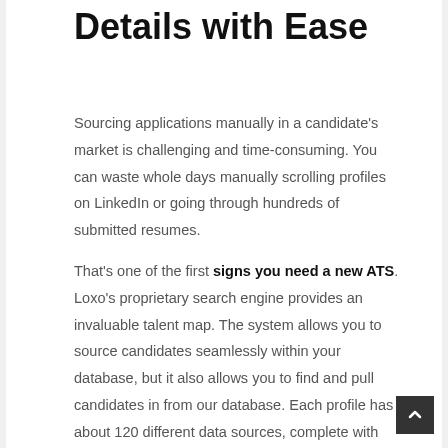Details with Ease
Sourcing applications manually in a candidate's market is challenging and time-consuming. You can waste whole days manually scrolling profiles on LinkedIn or going through hundreds of submitted resumes.
That's one of the first signs you need a new ATS. Loxo's proprietary search engine provides an invaluable talent map. The system allows you to source candidates seamlessly within your database, but it also allows you to find and pull candidates in from our database. Each profile has about 120 different data sources, complete with